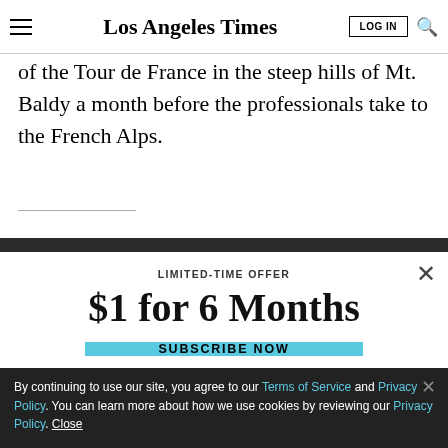Los Angeles Times
of the Tour de France in the steep hills of Mt. Baldy a month before the professionals take to the French Alps.
LIMITED-TIME OFFER
$1 for 6 Months
SUBSCRIBE NOW
By continuing to use our site, you agree to our Terms of Service and Privacy Policy. You can learn more about how we use cookies by reviewing our Privacy Policy. Close